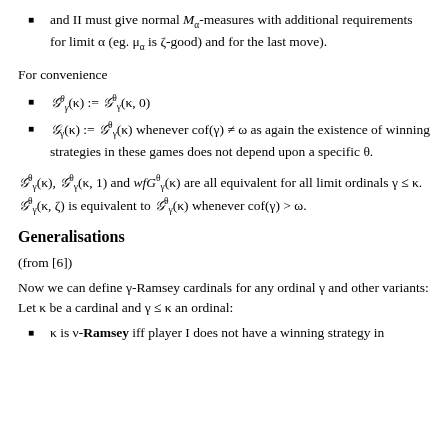and II must give normal M_α-measures with additional requirements for limit α (eg. μ_α is ζ-good) and for the last move).
For convenience
G^θ_γ(κ) := G^θ_γ(κ, 0)
G_γ(κ) := G^θ_γ(κ) whenever cof(γ) ≠ ω as again the existence of winning strategies in these games does not depend upon a specific θ.
G^θ_γ(κ), G^θ_γ(κ, 1) and wfG^θ_γ(κ) are all equivalent for all limit ordinals γ ≤ κ. G^θ_γ(κ, ζ) is equivalent to G^θ_γ(κ) whenever cof(γ) > ω.
Generalisations
(from [6])
Now we can define γ-Ramsey cardinals for any ordinal γ and other variants: Let κ be a cardinal and γ ≤ κ an ordinal:
κ is ν-Ramsey iff player I does not have a winning strategy in